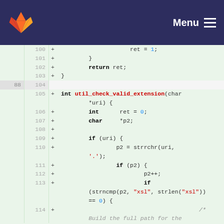GitLab — Menu
[Figure (screenshot): GitLab code diff view showing C source code lines 100-114 with added lines (+) highlighted in green. Lines include: ret=1, closing brace, return ret, closing brace, blank line 88/104, function declaration int util_check_valid_extension(char *uri), int ret=0, char *p2, blank line 108, if(uri) block, p2=strrchr(uri,'.'), if(p2) check, p2++, if(strncmp(p2,'xsl',strlen('xsl'))==0) start, and a comment /* Build the full path for the]